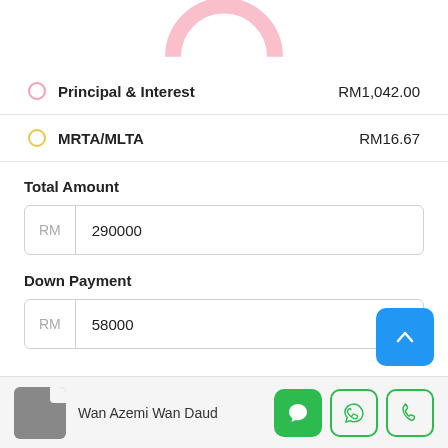[Figure (donut-chart): Partial donut/arc chart in pink at the top of the page, cropped — only the bottom portion visible]
Principal & Interest   RM1,042.00
MRTA/MLTA   RM16.67
Total Amount
RM   290000
Down Payment
RM   58000
Interest Rate
Wan Azemi Wan Daud